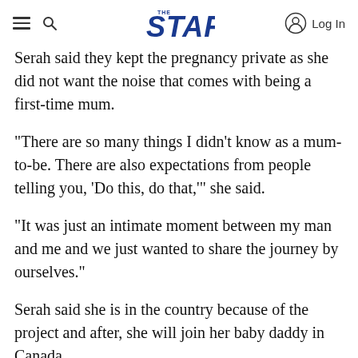THE STAR — Log In
Serah said they kept the pregnancy private as she did not want the noise that comes with being a first-time mum.
"There are so many things I didn't know as a mum-to-be. There are also expectations from people telling you, 'Do this, do that,'" she said.
"It was just an intimate moment between my man and me and we just wanted to share the journey by ourselves."
Serah said she is in the country because of the project and after, she will join her baby daddy in Canada.